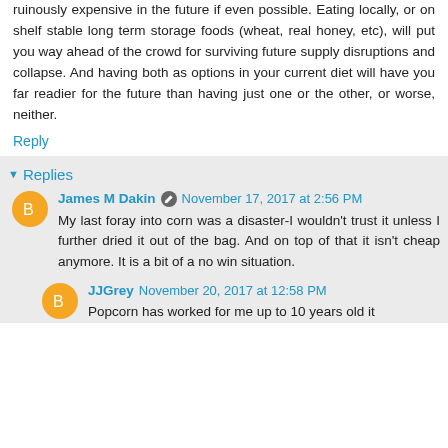ruinously expensive in the future if even possible. Eating locally, or on shelf stable long term storage foods (wheat, real honey, etc), will put you way ahead of the crowd for surviving future supply disruptions and collapse. And having both as options in your current diet will have you far readier for the future than having just one or the other, or worse, neither.
Reply
Replies
James M Dakin  November 17, 2017 at 2:56 PM
My last foray into corn was a disaster-I wouldn't trust it unless I further dried it out of the bag. And on top of that it isn't cheap anymore. It is a bit of a no win situation.
JJGrey  November 20, 2017 at 12:58 PM
Popcorn has worked for me up to 10 years old it